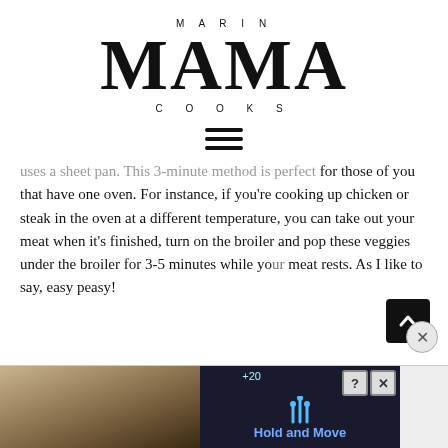[Figure (logo): Marin Mama Cooks logo with large MAMA text]
[Figure (other): Hamburger menu icon with three horizontal lines]
uses a sheet pan. This 3-minute method is perfect for those of you that have one oven. For instance, if you're cooking up chicken or steak in the oven at a different temperature, you can take out your meat when it's finished, turn on the broiler and pop these veggies under the broiler for 3-5 minutes while your meat rests. As I like to say, easy peasy!
[Figure (screenshot): Advertisement banner at bottom showing Hold and Move app ad with trees background and close buttons]